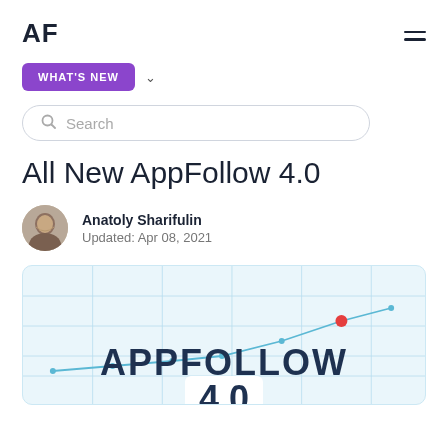AF
WHAT'S NEW
Search
All New AppFollow 4.0
Anatoly Sharifulin
Updated: Apr 08, 2021
[Figure (screenshot): AppFollow 4.0 hero banner with large bold APPFOLLOW text and a line chart overlay on a light blue background, showing '4.0' partially visible at the bottom]